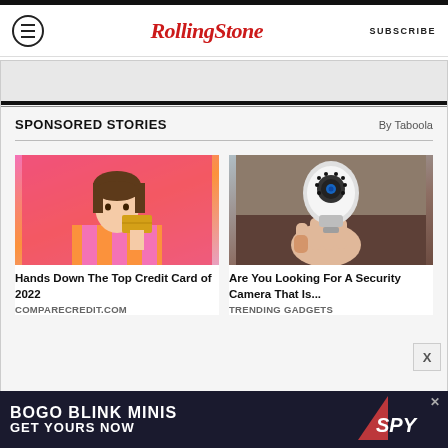Rolling Stone — SUBSCRIBE
SPONSORED STORIES — By Taboola
[Figure (photo): Woman in pink and orange striped top holding a credit card near her face against a pink background]
Hands Down The Top Credit Card of 2022
COMPARECREDIT.COM
[Figure (photo): Hand holding a white security camera shaped like a light bulb with lens]
Are You Looking For A Security Camera That Is...
TRENDING GADGETS
[Figure (infographic): BOGO BLINK MINIS GET YOURS NOW — SPY advertisement banner in dark background]